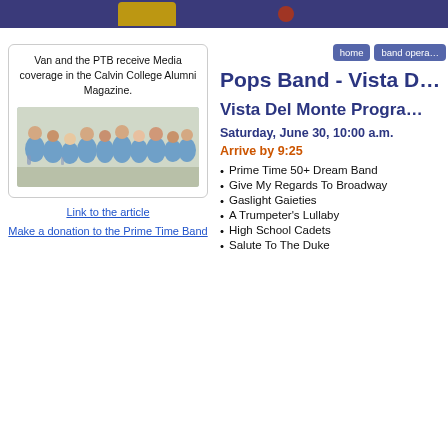[Figure (photo): Top banner with dark blue/navy background, golden decoration and red dot]
Van and the PTB receive Media coverage in the Calvin College Alumni Magazine.
[Figure (photo): Group photo of approximately 10-11 elderly band members wearing light blue polo shirts, some holding instruments, posed together]
Link to the article
Make a donation to the Prime Time Band
home  band opera...
Pops Band - Vista D...
Vista Del Monte Progra...
Saturday, June 30, 10:00 a.m.
Arrive by 9:25
Prime Time 50+ Dream Band
Give My Regards To Broadway
Gaslight Gaieties
A Trumpeter's Lullaby
High School Cadets
Salute To The Duke